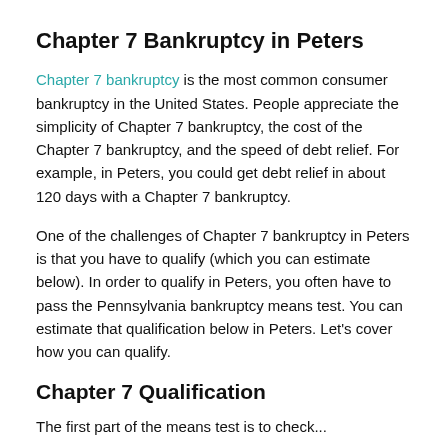Chapter 7 Bankruptcy in Peters
Chapter 7 bankruptcy is the most common consumer bankruptcy in the United States. People appreciate the simplicity of Chapter 7 bankruptcy, the cost of the Chapter 7 bankruptcy, and the speed of debt relief. For example, in Peters, you could get debt relief in about 120 days with a Chapter 7 bankruptcy.
One of the challenges of Chapter 7 bankruptcy in Peters is that you have to qualify (which you can estimate below). In order to qualify in Peters, you often have to pass the Pennsylvania bankruptcy means test. You can estimate that qualification below in Peters. Let’s cover how you can qualify.
Chapter 7 Qualification
The first part of the means test is to check...